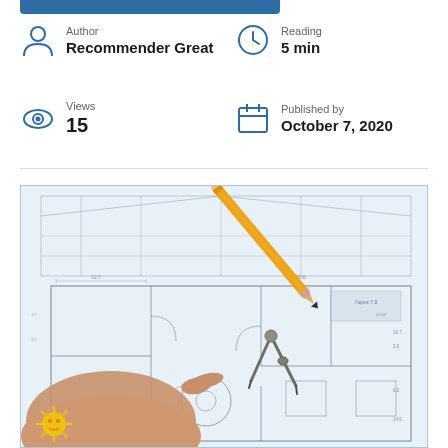Author
Recommender Great
Reading
5 min
Views
15
Published by
October 7, 2020
[Figure (photo): A hand pointing at architectural blueprints with a pencil and compass on top of technical drawings]